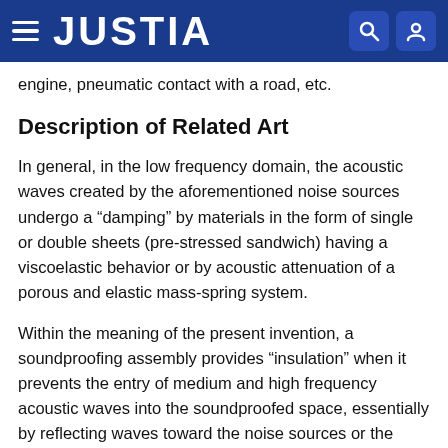JUSTIA
engine, pneumatic contact with a road, etc.
Description of Related Art
In general, in the low frequency domain, the acoustic waves created by the aforementioned noise sources undergo a “damping” by materials in the form of single or double sheets (pre-stressed sandwich) having a viscoelastic behavior or by acoustic attenuation of a porous and elastic mass-spring system.
Within the meaning of the present invention, a soundproofing assembly provides “insulation” when it prevents the entry of medium and high frequency acoustic waves into the soundproofed space, essentially by reflecting waves toward the noise sources or the outside of the soundproofed space.